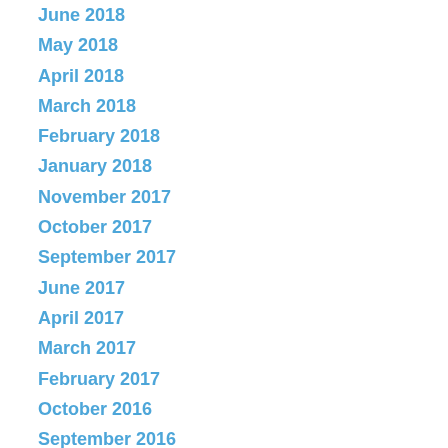June 2018
May 2018
April 2018
March 2018
February 2018
January 2018
November 2017
October 2017
September 2017
June 2017
April 2017
March 2017
February 2017
October 2016
September 2016
August 2016
June 2016
May 2016
April 2016
March 2016